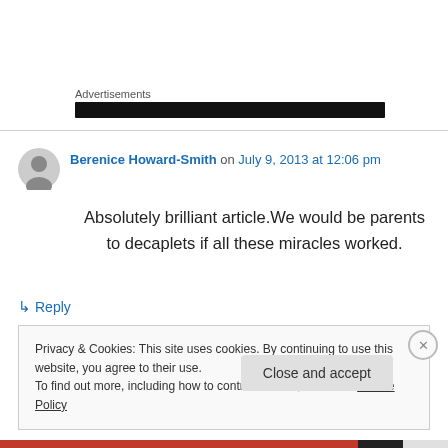Advertisements
Berenice Howard-Smith on July 9, 2013 at 12:06 pm
Absolutely brilliant article.We would be parents to decaplets if all these miracles worked.
↳ Reply
Privacy & Cookies: This site uses cookies. By continuing to use this website, you agree to their use.
To find out more, including how to control cookies, see here: Cookie Policy
Close and accept